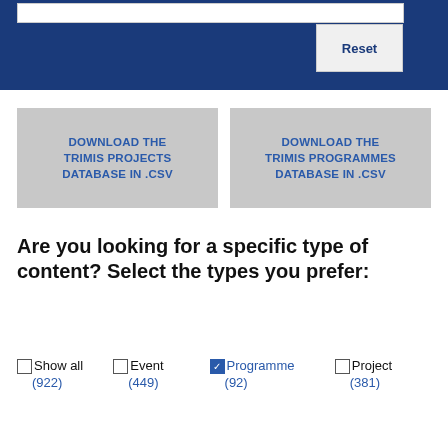[Figure (screenshot): Blue header bar with white search input field at top and a Reset button]
DOWNLOAD THE TRIMIS PROJECTS DATABASE IN .CSV
DOWNLOAD THE TRIMIS PROGRAMMES DATABASE IN .CSV
Are you looking for a specific type of content? Select the types you prefer:
Show all (922)
Event (449)
Programme (92)
Project (381)